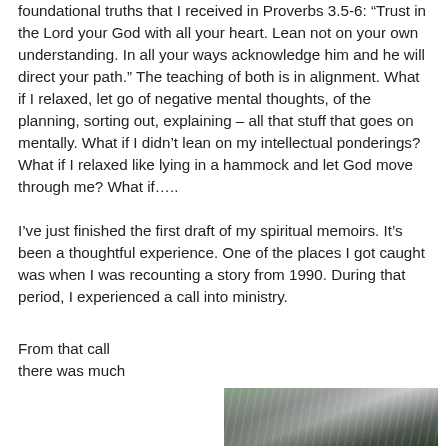foundational truths that I received in Proverbs 3.5-6: “Trust in the Lord your God with all your heart. Lean not on your own understanding. In all your ways acknowledge him and he will direct your path.” The teaching of both is in alignment. What if I relaxed, let go of negative mental thoughts, of the planning, sorting out, explaining – all that stuff that goes on mentally. What if I didn’t lean on my intellectual ponderings? What if I relaxed like lying in a hammock and let God move through me? What if.....
I’ve just finished the first draft of my spiritual memoirs. It’s been a thoughtful experience. One of the places I got caught was when I was recounting a story from 1990. During that period, I experienced a call into ministry. From that call there was much
[Figure (photo): A nature photograph showing a mountainous or forested landscape with trees and what appears to be rocky terrain or a waterfall, in dark tones of green and grey.]